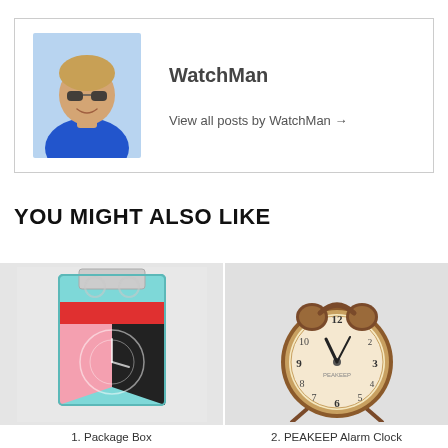[Figure (photo): Author box with photo of a man wearing sunglasses and a blue shirt, next to the name WatchMan and a link 'View all posts by WatchMan →']
WatchMan
View all posts by WatchMan →
YOU MIGHT ALSO LIKE
[Figure (photo): Product image of a colorful package box with clock graphics, labeled '1. Package Box']
1. Package Box
[Figure (photo): Product image of a PEAKEEP Alarm Clock with vintage brass/copper twin bell design, labeled '2. PEAKEEP Alarm Clock']
2. PEAKEEP Alarm Clock